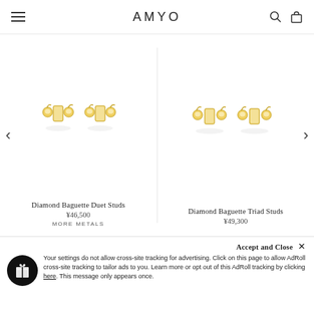AMYO
[Figure (illustration): Diamond Baguette Duet Studs earrings — two gold stud earrings with baguette and round diamonds]
Diamond Baguette Duet Studs
¥46,500
MORE METALS
[Figure (illustration): Diamond Baguette Triad Studs earrings — two gold stud earrings with baguette and round diamonds in triad arrangement]
Diamond Baguette Triad Studs
¥49,300
Your settings do not allow cross-site tracking for advertising. Click on this page to allow AdRoll cross-site tracking to tailor ads to you. Learn more or opt out of this AdRoll tracking by clicking here. This message only appears once.